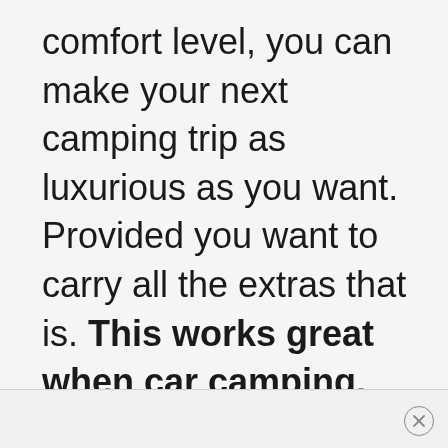comfort level, you can make your next camping trip as luxurious as you want. Provided you want to carry all the extras that is. This works great when car camping.
×